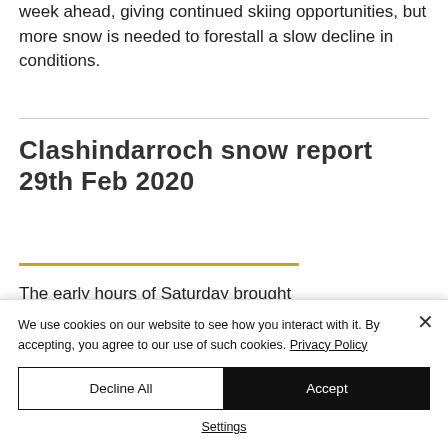week ahead, giving continued skiing opportunities, but more snow is needed to forestall a slow decline in conditions.
Clashindarroch snow report 29th Feb 2020
The early hours of Saturday brought
We use cookies on our website to see how you interact with it. By accepting, you agree to our use of such cookies. Privacy Policy
Decline All
Accept
Settings